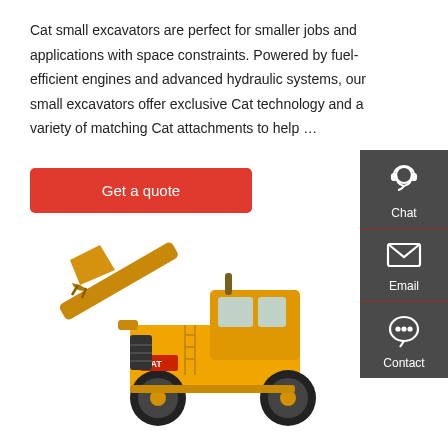Cat small excavators are perfect for smaller jobs and applications with space constraints. Powered by fuel-efficient engines and advanced hydraulic systems, our small excavators offer exclusive Cat technology and a variety of matching Cat attachments to help …
Get a quote
[Figure (illustration): Sidebar with three icons (Chat, Email, Contact) on a dark grey background, arranged vertically]
[Figure (photo): Yellow Cat wheel loader (front loader / small excavator) photographed on a white background, facing left with raised bucket]